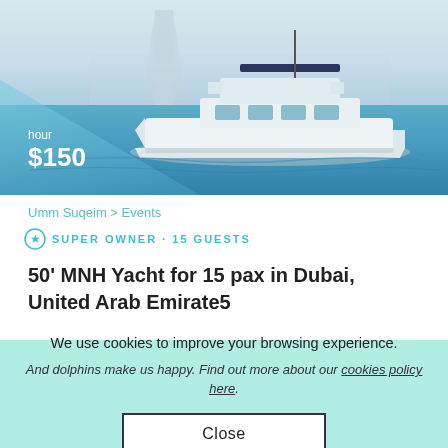[Figure (photo): A white luxury motor yacht on blue water with a skyline (including Burj Al Arab) visible in the hazy background. Dubai coastal scene.]
hour
$150
Umm Suqeim > Events
SUPER OWNER • 15 GUESTS
50' MNH Yacht for 15 pax in Dubai, United Arab Emirate5
We use cookies to improve your browsing experience.
And dolphins make us happy. Find out more about our cookies policy here.
Close